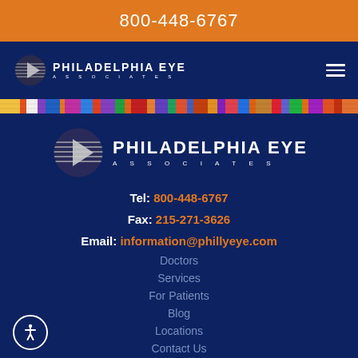800-448-6767
[Figure (logo): Philadelphia Eye Associates logo in white on dark navy nav bar with hamburger menu icon]
[Figure (illustration): Colorful horizontal strip with multicolored city/abstract pattern]
[Figure (logo): Philadelphia Eye Associates large logo centered on dark navy background]
Tel: 800-448-6767
Fax: 215-271-3626
Email: information@phillyeye.com
Doctors
Services
For Patients
Blog
Locations
Contact Us